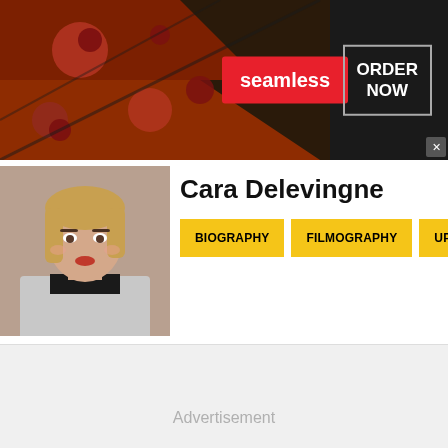[Figure (screenshot): Seamless food delivery advertisement banner with pizza image on left, red 'seamless' badge in center, and 'ORDER NOW' box on right with close button]
Cara Delevingne
[Figure (photo): Headshot photo of Cara Delevingne, a blonde woman with bold makeup]
BIOGRAPHY
FILMOGRAPHY
UPCOMING M
Advertisement
[Figure (screenshot): Women's Fashion | Shop Online | VENUS advertisement. Shop the best in women's fashion, clothing, swimwear. venus.com]